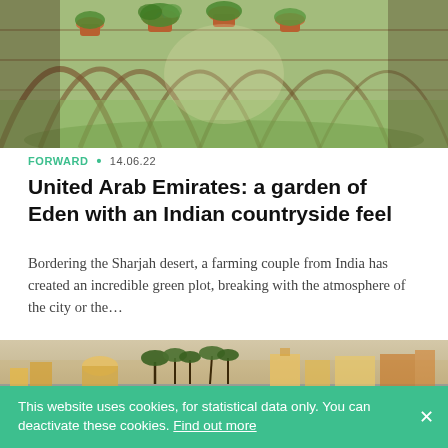[Figure (photo): Interior of a greenhouse tunnel with hanging plant pots and greenery; warm natural light filtering through the structure.]
FORWARD • 14.06.22
United Arab Emirates: a garden of Eden with an Indian countryside feel
Bordering the Sharjah desert, a farming couple from India has created an incredible green plot, breaking with the atmosphere of the city or the...
[Figure (photo): Golden-hour cityscape with palm trees, ornate buildings and a waterfront reflection.]
This website uses cookies, for statistical data only. You can deactivate these cookies. Find out more